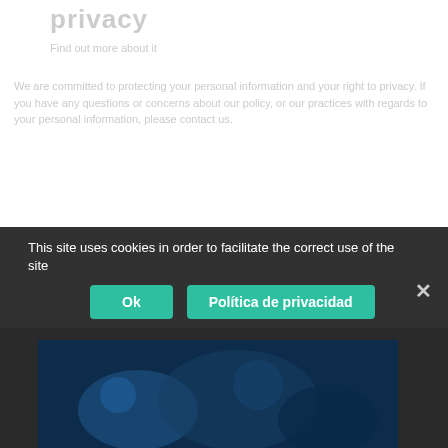privacy
Find out more about it
We are committed to protecting your personal information and your right to privacy. If you have any questions or concerns about our policy, or our practices with regards to your personal information, please contact us.
[Figure (photo): Dark blue toned photo visible partially behind cookie consent banner]
This site uses cookies in order to facilitate the correct use of the site
Ok
Política de privacidad